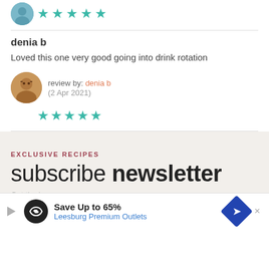[Figure (other): Partial avatar and 5-star rating at top of page]
denia b
Loved this one very good going into drink rotation
review by: denia b
(2 Apr 2021)
[Figure (other): 5 teal stars rating]
EXCLUSIVE RECIPES
subscribe newsletter
Get the la...
[Figure (other): Advertisement: Save Up to 65% Leesburg Premium Outlets]